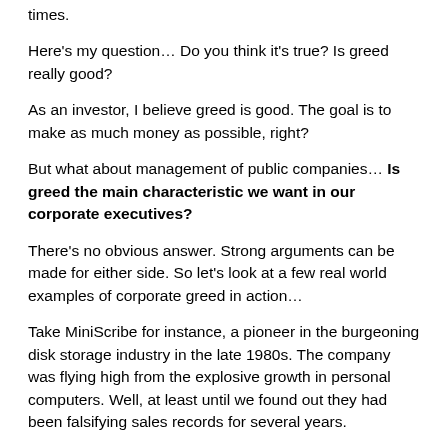times.
Here's my question… Do you think it's true?  Is greed really good?
As an investor, I believe greed is good.  The goal is to make as much money as possible, right?
But what about management of public companies… Is greed the main characteristic we want in our corporate executives?
There's no obvious answer.  Strong arguments can be made for either side.  So let's look at a few real world examples of corporate greed in action…
Take MiniScribe for instance, a pioneer in the burgeoning disk storage industry in the late 1980s.  The company was flying high from the explosive growth in personal computers.  Well, at least until we found out they had been falsifying sales records for several years.
Why'd they do it?  They were trying to impress Wall Street and their shareholders.
Check this out… at one point, MiniScribe even sent bricks